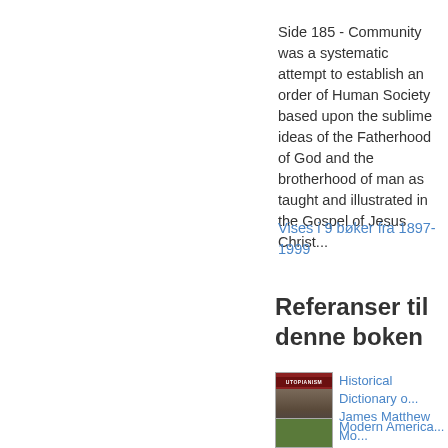Side 185 - Community was a systematic attempt to establish an order of Human Society based upon the sublime ideas of the Fatherhood of God and the brotherhood of man as taught and illustrated in the Gospel of Jesus Christ...
Vises i 9 bøker fra 1897-1999
Referanser til denne boken
[Figure (photo): Book cover thumbnail for Historical Dictionary of Utopianism]
Historical Dictionary of ...
James Matthew Mo...
Begrenset visning -
[Figure (photo): Book cover thumbnail for Modern America...]